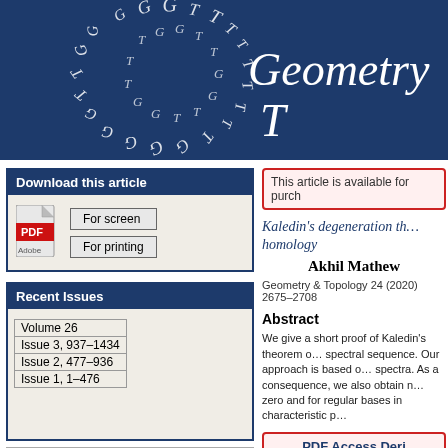[Figure (logo): Geometry & Topology journal banner with circular GT letter logo on dark blue background]
Download this article
[Figure (illustration): PDF icon with Adobe logo]
For screen
For printing
Recent Issues
| Volume 26 |
| Issue 3, 937–1434 |
| Issue 2, 477–936 |
| Issue 1, 1–476 |
Loading [MathJax]/extensions/MathEvents.js
This article is available for purch
Kaledin's degeneration theorem and topological Hochschild homology
Akhil Mathew
Geometry & Topology 24 (2020) 2675–2708
Abstract
We give a short proof of Kaledin's theorem on the degeneration of the Hochschild-to-cyclic spectral sequence. Our approach is based on topological Hochschild homology and Bökstedt's computation of π∗THH(𝔽p) for all prime p. spectra. As a consequence, we also obtain results for smooth and proper dg-categories in characteristic zero and for regular bases in characteristic p.
PDF Access Deri